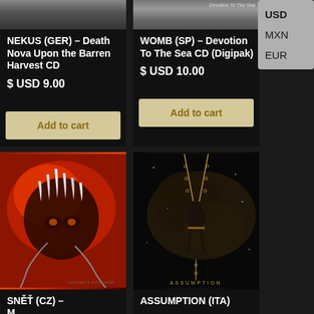[Figure (screenshot): E-commerce product listing page showing music CDs for sale with album artwork, titles, prices in USD, and Add to cart buttons. A currency selector dropdown showing USD, MXN, EUR is visible on the right side.]
NEKUS (GER) – Death Nova Upon the Barren Harvest CD
$ USD 9.00
Add to cart
WOMB (SP) – Devotion To The Sea CD (Digipak)
$ USD 10.00
Add to cart
SNĚŤ (CZ) – M...
ASSUMPTION (ITA)
USD
MXN
EUR